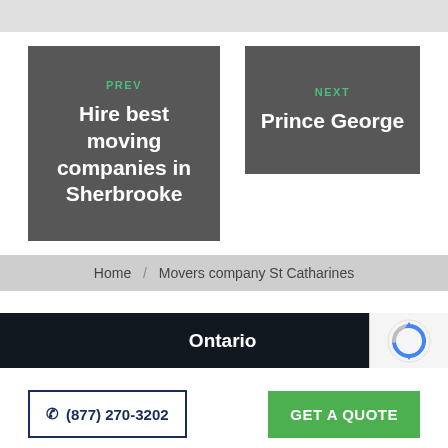[Figure (screenshot): Grey top bar area]
PREV
Hire best moving companies in Sherbrooke
NEXT
Prince George
Home / Movers company St Catharines
Ontario
(877) 270-3202
GET A QUOTE